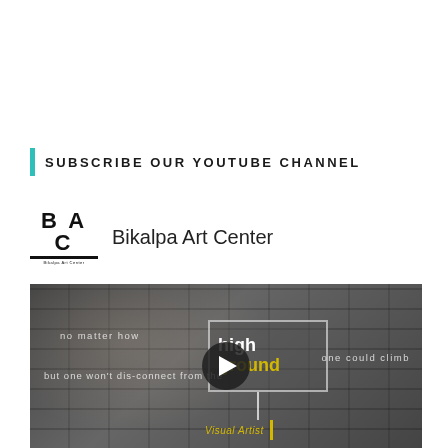SUBSCRIBE OUR YOUTUBE CHANNEL
[Figure (logo): BAC Bikalpa Art Center logo with channel name]
[Figure (screenshot): YouTube video thumbnail showing an elderly man smiling in front of a brick wall. Text overlays read: 'no matter how high one could climb', 'but one won't dis-connect from the ground', with a highlighted box containing 'high ground' in white and yellow. A play button is centered. Below text reads 'Visual Artist'.]